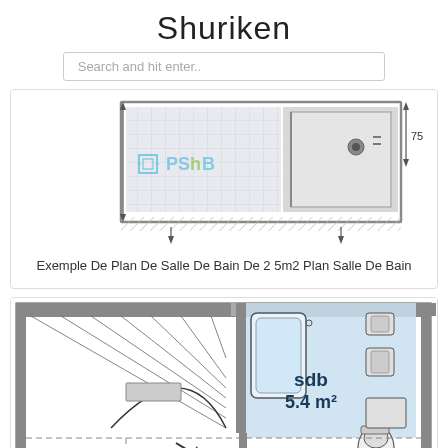Shuriken
Search and hit enter..
[Figure (engineering-diagram): Bathroom floor plan showing a small bathroom layout with tiled area, sink, shower, measurement annotation of 75, and watermark 'PSHB'. Arrows indicate dimensions.]
Exemple De Plan De Salle De Bain De 2 5m2 Plan Salle De Bain
[Figure (engineering-diagram): Architectural floor plan showing a staircase area and a bathroom (sdb) highlighted in blue with label '5.4 m²', including fixtures such as bathtub, toilet, sink. Other rooms partially visible with dashed partition lines and furniture outlines.]